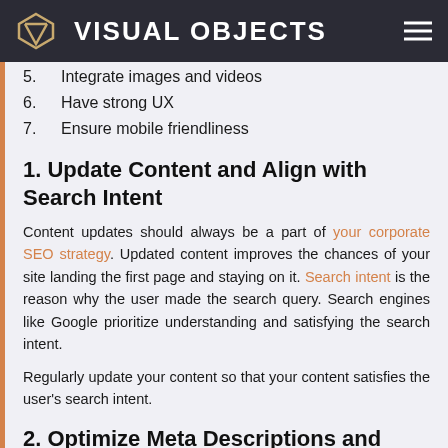VISUAL OBJECTS
5. Integrate images and videos
6. Have strong UX
7. Ensure mobile friendliness
1. Update Content and Align with Search Intent
Content updates should always be a part of your corporate SEO strategy. Updated content improves the chances of your site landing the first page and staying on it. Search intent is the reason why the user made the search query. Search engines like Google prioritize understanding and satisfying the search intent.
Regularly update your content so that your content satisfies the user's search intent.
2. Optimize Meta Descriptions and Meta Tags